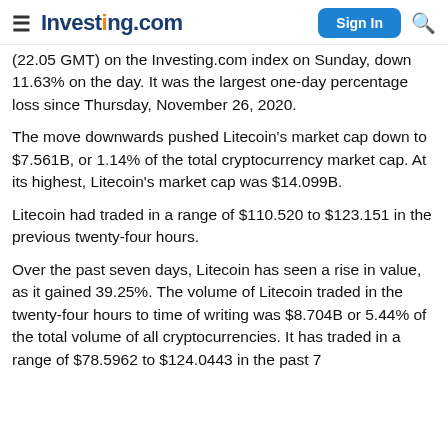Investing.com — Sign In
(22.05 GMT) on the Investing.com index on Sunday, down 11.63% on the day. It was the largest one-day percentage loss since Thursday, November 26, 2020.
The move downwards pushed Litecoin's market cap down to $7.561B, or 1.14% of the total cryptocurrency market cap. At its highest, Litecoin's market cap was $14.099B.
Litecoin had traded in a range of $110.520 to $123.151 in the previous twenty-four hours.
Over the past seven days, Litecoin has seen a rise in value, as it gained 39.25%. The volume of Litecoin traded in the twenty-four hours to time of writing was $8.704B or 5.44% of the total volume of all cryptocurrencies. It has traded in a range of $78.5962 to $124.0443 in the past 7